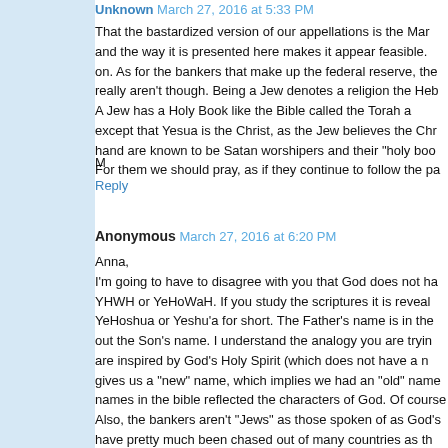Unknown March 27, 2016 at 5:33 PM
That the bastardized version of our appellations is the Mar... and the way it is presented here makes it appear feasible. on. As for the bankers that make up the federal reserve, th... really aren't though. Being a Jew denotes a religion the Heb... A Jew has a Holy Book like the Bible called the Torah a... except that Yesua is the Christ, as the Jew believes the Chr... hand are known to be Satan worshipers and their "holy boo... For them we should pray, as if they continue to follow the pa...
M
Reply
Anonymous March 27, 2016 at 6:20 PM
Anna,
I'm going to have to disagree with you that God does not ha... YHWH or YeHoWaH. If you study the scriptures it is reveal... YeHoshua or Yeshu'a for short. The Father's name is in the... out the Son's name. I understand the analogy you are tryin... are inspired by God's Holy Spirit (which does not have a n... gives us a "new" name, which implies we had an "old" name... names in the bible reflected the characters of God. Of course... Also, the bankers aren't "Jews" as those spoken of as God's... have pretty much been chased out of many countries as th... Some commented, they hold to the Talmud, which is not...